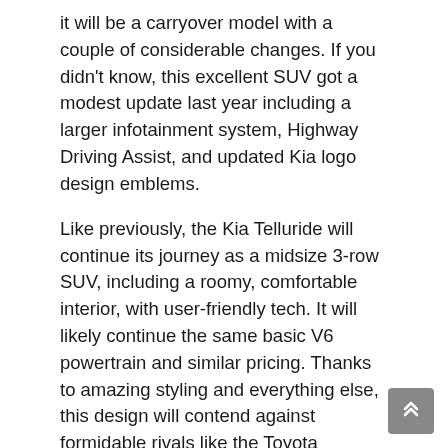it will be a carryover model with a couple of considerable changes. If you didn't know, this excellent SUV got a modest update last year including a larger infotainment system, Highway Driving Assist, and updated Kia logo design emblems.
Like previously, the Kia Telluride will continue its journey as a midsize 3-row SUV, including a roomy, comfortable interior, with user-friendly tech. It will likely continue the same basic V6 powertrain and similar pricing. Thanks to amazing styling and everything else, this design will contend against formidable rivals like the Toyota Highlander and Chevrolet Traverse.
Here is necessary data on KIA, 2023 Kia Telluride interior, 2023 Kia Telluride photos, 2023 Kia Telluride redesign. We have the greatest sources for KIA, 2023 Kia Telluride interior, 2023 Kia Telluride photos, 2023 Kia Telluride redesign. Check it out for yourself! You can get 2023 Kia